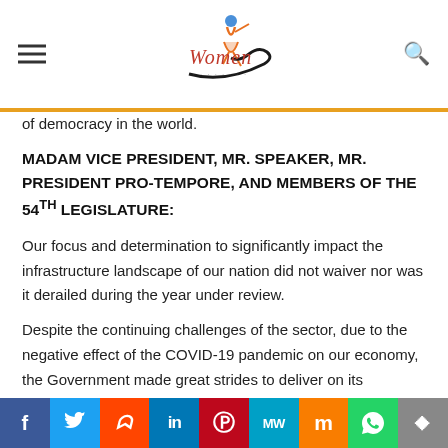Women [logo] — navigation header with menu and search icons
of democracy in the world.
MADAM VICE PRESIDENT, MR. SPEAKER, MR. PRESIDENT PRO-TEMPORE, AND MEMBERS OF THE 54TH LEGISLATURE:
Our focus and determination to significantly impact the infrastructure landscape of our nation did not waiver nor was it derailed during the year under review.
Despite the continuing challenges of the sector, due to the negative effect of the COVID-19 pandemic on our economy, the Government made great strides to deliver on its
f | Twitter | Reddit | in | P | MW | Mix | WhatsApp | Share